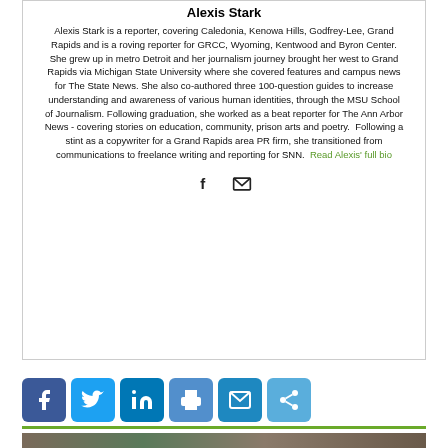Alexis Stark
Alexis Stark is a reporter, covering Caledonia, Kenowa Hills, Godfrey-Lee, Grand Rapids and is a roving reporter for GRCC, Wyoming, Kentwood and Byron Center. She grew up in metro Detroit and her journalism journey brought her west to Grand Rapids via Michigan State University where she covered features and campus news for The State News. She also co-authored three 100-question guides to increase understanding and awareness of various human identities, through the MSU School of Journalism. Following graduation, she worked as a beat reporter for The Ann Arbor News - covering stories on education, community, prison arts and poetry.  Following a stint as a copywriter for a Grand Rapids area PR firm, she transitioned from communications to freelance writing and reporting for SNN.  Read Alexis' full bio
[Figure (other): Social media share buttons: Facebook, Twitter, LinkedIn, Print, Email, More/Share]
[Figure (photo): Photo strip at bottom of page showing partial images of people]